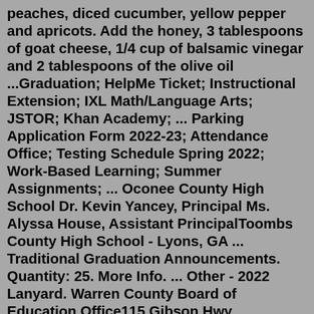peaches, diced cucumber, yellow pepper and apricots. Add the honey, 3 tablespoons of goat cheese, 1/4 cup of balsamic vinegar and 2 tablespoons of the olive oil ...Graduation; HelpMe Ticket; Instructional Extension; IXL Math/Language Arts; JSTOR; Khan Academy; ... Parking Application Form 2022-23; Attendance Office; Testing Schedule Spring 2022; Work-Based Learning; Summer Assignments; ... Oconee County High School Dr. Kevin Yancey, Principal Ms. Alyssa House, Assistant PrincipalToombs County High School - Lyons, GA ... Traditional Graduation Announcements. Quantity: 25. More Info. ... Other - 2022 Lanyard. Warren County Board of Education Office115 Gibson Hwy, Warrenton, Ga 30828(706)465-3383 Warren County School System1253 Atlanta Hwy, Warrenton, Ga 30828(706)465-3742Lyon County. Fernley, NV 89408. $18.30 - $29.28 an hour. Part-time. Day shift. Easily apply to this job without a resume. Responsive employer. High school or equivalent (Preferred). Food Specialists perform a variety of food preparation...